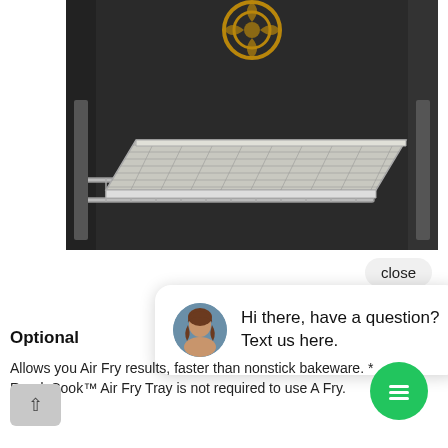[Figure (photo): Interior of an oven with a wire mesh air fry tray on the rack, dark oven walls visible, gold fan element at top.]
close
[Figure (screenshot): Chat popup widget with avatar of a woman and text: Hi there, have a question? Text us here.]
Optional
Allows you Air Fry results, faster than nonstick bakeware. * ReadyCook™ Air Fry Tray is not required to use A Fry.